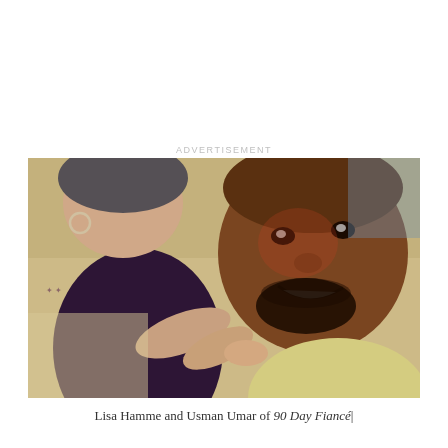ADVERTISEMENT
[Figure (photo): Selfie photo of Lisa Hamme (woman in dark purple top, with tattoo on arm) and Usman Umar (man with beard, smiling, wearing light-colored shirt), taken together closely.]
Lisa Hamme and Usman Umar of 90 Day Fiancé|